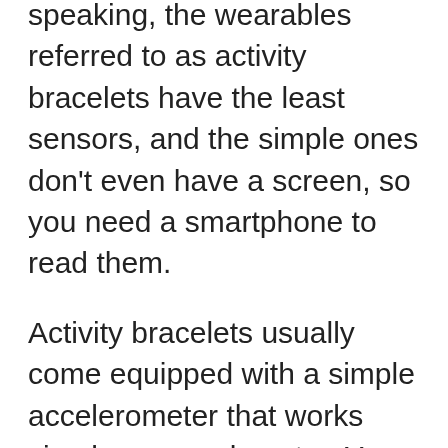speaking, the wearables referred to as activity bracelets have the least sensors, and the simple ones don't even have a screen, so you need a smartphone to read them.
Activity bracelets usually come equipped with a simple accelerometer that works simply as a pedometer. You input your weight, gender, and age and the bracelets estimate your overall activity based on that data. Activity bracelets generally cost around $50 to $100. I talked more about this type of device in the article How Many Steps Per Day For Seniors? and Free